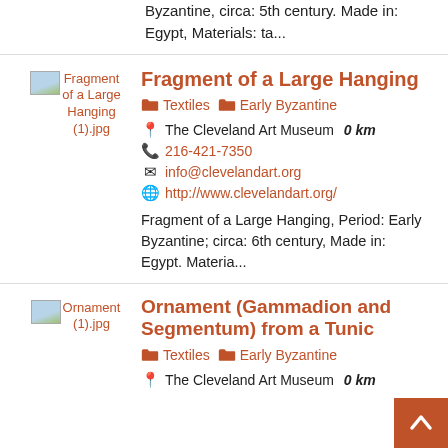Byzantine, circa: 5th century. Made in: Egypt, Materials: ta...
Fragment of a Large Hanging
Textiles  Early Byzantine
The Cleveland Art Museum  0 km
216-421-7350
info@clevelandart.org
http://www.clevelandart.org/
Fragment of a Large Hanging, Period: Early Byzantine; circa: 6th century, Made in: Egypt. Materia...
Ornament (Gammadion and Segmentum) from a Tunic
Textiles  Early Byzantine
The Cleveland Art Museum  0 km